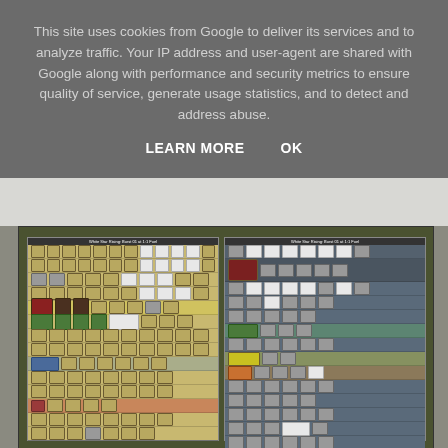This site uses cookies from Google to deliver its services and to analyze traffic. Your IP address and user-agent are shared with Google along with performance and security metrics to ensure quality of service, generate usage statistics, and to detect and address abuse.
LEARN MORE    OK
[Figure (screenshot): A screenshot of a board game counter sheet or unit counter layout showing two panels side by side. Left panel labeled 'White Star Rising: Burst 01 at 1:1 Fuel' with a tan/brown background showing rows of military unit counters. Right panel with similar label showing counters on a gray/blue background. Various counter types visible including tanks, infantry, and special units with colored highlights.]